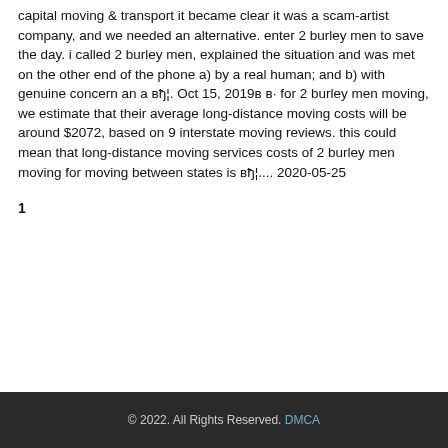capital moving & transport it became clear it was a scam-artist company, and we needed an alternative. enter 2 burley men to save the day. i called 2 burley men, explained the situation and was met on the other end of the phone a) by a real human; and b) with genuine concern an a вђ¦. Oct 15, 2019в в· for 2 burley men moving, we estimate that their average long-distance moving costs will be around $2072, based on 9 interstate moving reviews. this could mean that long-distance moving services costs of 2 burley men moving for moving between states is вђ¦.... 2020-05-25
1
© 2022. All Rights Reserved. DMCA